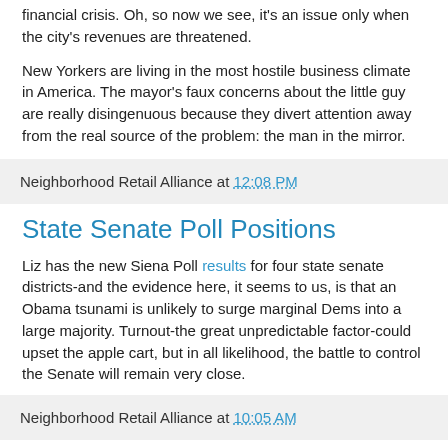financial crisis. Oh, so now we see, it's an issue only when the city's revenues are threatened.
New Yorkers are living in the most hostile business climate in America. The mayor's faux concerns about the little guy are really disingenuous because they divert attention away from the real source of the problem: the man in the mirror.
Neighborhood Retail Alliance at 12:08 PM
State Senate Poll Positions
Liz has the new Siena Poll results for four state senate districts-and the evidence here, it seems to us, is that an Obama tsunami is unlikely to surge marginal Dems into a large majority. Turnout-the great unpredictable factor-could upset the apple cart, but in all likelihood, the battle to control the Senate will remain very close.
Neighborhood Retail Alliance at 10:05 AM